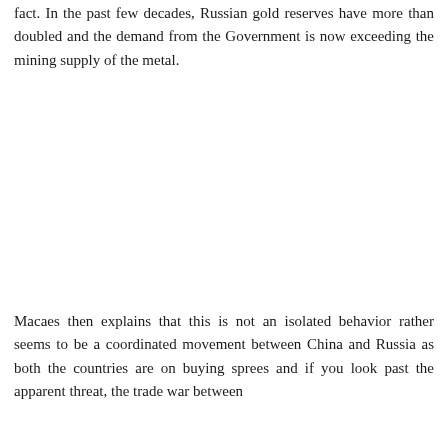fact. In the past few decades, Russian gold reserves have more than doubled and the demand from the Government is now exceeding the mining supply of the metal.
Macaes then explains that this is not an isolated behavior rather seems to be a coordinated movement between China and Russia as both the countries are on buying sprees and if you look past the apparent threat, the trade war between